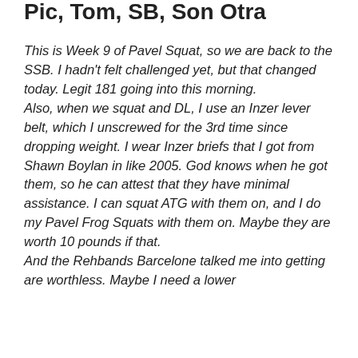Pic, Tom, SB, Son Otra
This is Week 9 of Pavel Squat, so we are back to the SSB. I hadn't felt challenged yet, but that changed today. Legit 181 going into this morning.
Also, when we squat and DL, I use an Inzer lever belt, which I unscrewed for the 3rd time since dropping weight. I wear Inzer briefs that I got from Shawn Boylan in like 2005. God knows when he got them, so he can attest that they have minimal assistance. I can squat ATG with them on, and I do my Pavel Frog Squats with them on. Maybe they are worth 10 pounds if that.
And the Rehbands Barcelone talked me into getting are worthless. Maybe I need a lower